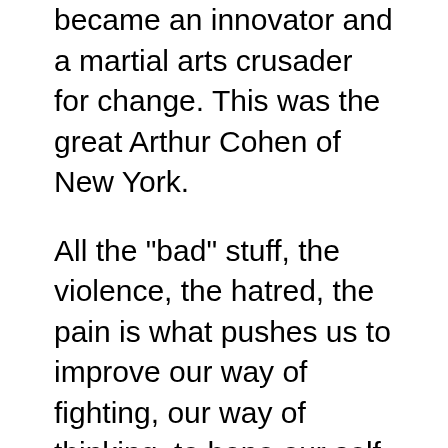became an innovator and a martial arts crusader for change. This was the great Arthur Cohen of New York.
All the "bad" stuff, the violence, the hatred, the pain is what pushes us to improve our way of fighting, our way of thinking, to hone our self-defense skills. This is what makes the nation of Israel such a fierce fighter, despite our tiny size.
But there is also the "ugly". The Ugly is the betrayal that makes you appreciate honesty and integrity, the ugly is being stabbed in the back by people whom you